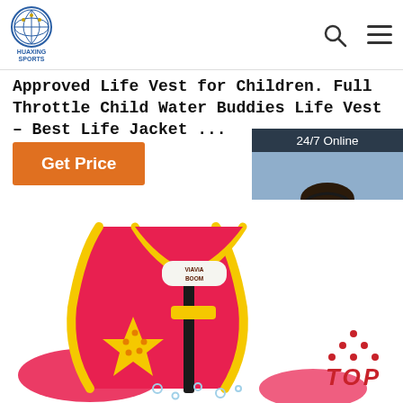HUAXING SPORTS
Approved Life Vest for Children. Full Throttle Child Water Buddies Life Vest – Best Life Jacket ...
Get Price
24/7 Online
[Figure (photo): Customer service representative wearing headset, smiling, with dark hair, shown in a dark blue chat widget panel on the right side]
Click here for free chat !
QUOTATION
[Figure (photo): Pink and yellow children's life vest/swim vest with a star design and 'ViAViA BOOM' logo patch, shown from the front]
TOP